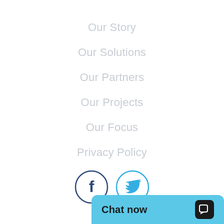Our Story
Our Solutions
Our Partners
Our Projects
Our Focus
Privacy Policy
[Figure (illustration): Facebook and Twitter social media icon circles]
Chat now